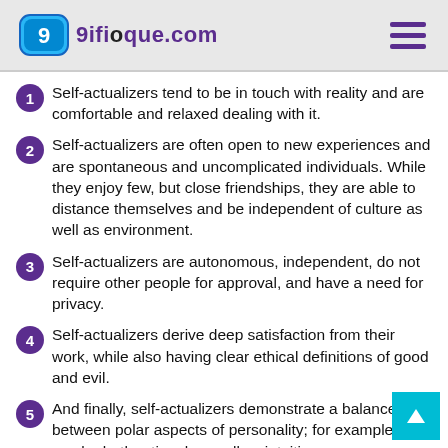9ifioque.com
Self-actualizers tend to be in touch with reality and are comfortable and relaxed dealing with it.
Self-actualizers are often open to new experiences and are spontaneous and uncomplicated individuals. While they enjoy few, but close friendships, they are able to distance themselves and be independent of culture as well as environment.
Self-actualizers are autonomous, independent, do not require other people for approval, and have a need for privacy.
Self-actualizers derive deep satisfaction from their work, while also having clear ethical definitions of good and evil.
And finally, self-actualizers demonstrate a balance between polar aspects of personality; for example, they can be both rational as well as intuitive.